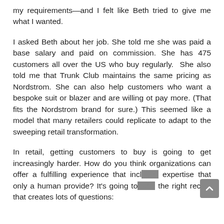my requirements—and I felt like Beth tried to give me what I wanted.
I asked Beth about her job. She told me she was paid a base salary and paid on commission. She has 475 customers all over the US who buy regularly. She also told me that Trunk Club maintains the same pricing as Nordstrom. She can also help customers who want a bespoke suit or blazer and are willing ot pay more. (That fits the Nordstrom brand for sure.) This seemed like a model that many retailers could replicate to adapt to the sweeping retail transformation.
In retail, getting customers to buy is going to get increasingly harder. How do you think organizations can offer a fulfilling experience that includes expertise that only a human provide? It's going to take the right recipe that creates lots of questions: